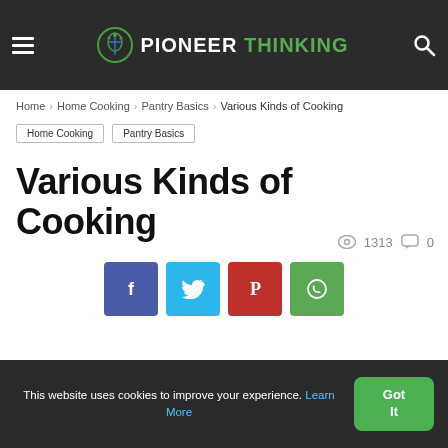Pioneer Thinking
Home › Home Cooking › Pantry Basics › Various Kinds of Cooking
Home Cooking  Pantry Basics
Various Kinds of Cooking
1313 views, 0 comments
[Figure (infographic): Social share buttons: Facebook, Twitter, Pinterest, WhatsApp]
This website uses cookies to improve your experience. Learn More  Got It